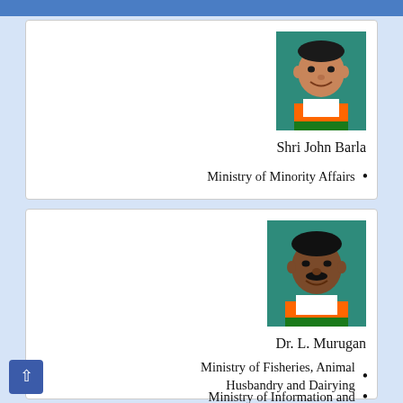[Figure (photo): Portrait photo of Shri John Barla on teal background, wearing saffron/white scarf]
Shri John Barla
Ministry of Minority Affairs •
[Figure (photo): Portrait photo of Dr. L. Murugan on teal background, wearing saffron/white scarf]
Dr. L. Murugan
Ministry of Fisheries, Animal Husbandry and Dairying •
Ministry of Information and •